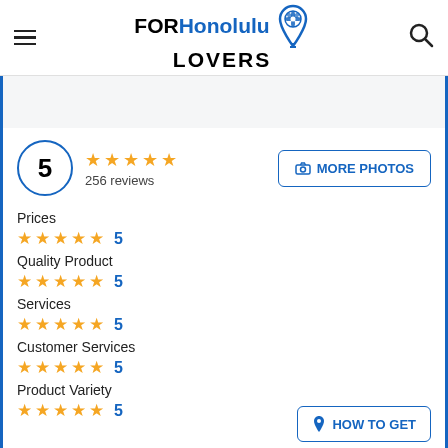FOR Honolulu LOVERS
5 ★★★★★ 256 reviews
MORE PHOTOS
Prices ★★★★★ 5
Quality Product ★★★★★ 5
Services ★★★★★ 5
Customer Services ★★★★★ 5
Product Variety ★★★★★ 5
HOW TO GET